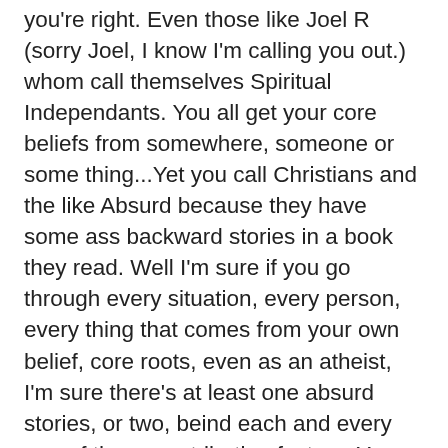you're right. Even those like Joel R (sorry Joel, I know I'm calling you out.) whom call themselves Spiritual Independants. You all get your core beliefs from somewhere, someone or some thing...Yet you call Christians and the like Absurd because they have some ass backward stories in a book they read. Well I'm sure if you go through every situation, every person, every thing that comes from your own belief, core roots, even as an atheist, I'm sure there's at least one absurd stories, or two, beind each and every one of those contributing factors. You all have sat there arguing over the smallest of details and because of that your squabbling has lead you to look at the small piece of a very large picture. No one is right and no one is wrong. Atheist, Christian, Hindu, Wiccan. We're all right and we're all wrong. Why? Because we are the medium and it is in our nature to be flawed. When the medium passes down the message (regardless), it'll end up like the